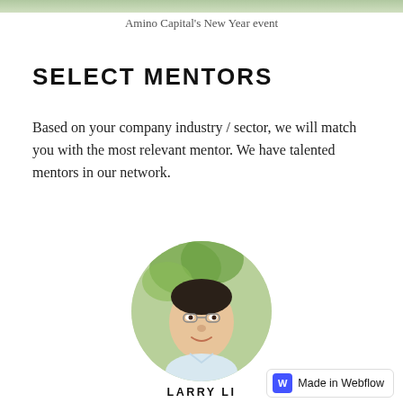Amino Capital's New Year event
SELECT MENTORS
Based on your company industry / sector, we will match you with the most relevant mentor. We have talented mentors in our network.
[Figure (photo): Circular portrait photo of Larry Li, a man wearing glasses, outdoors with green leaves in background]
LARRY LI
Managing Partner
Amino Capital
Made in Webflow